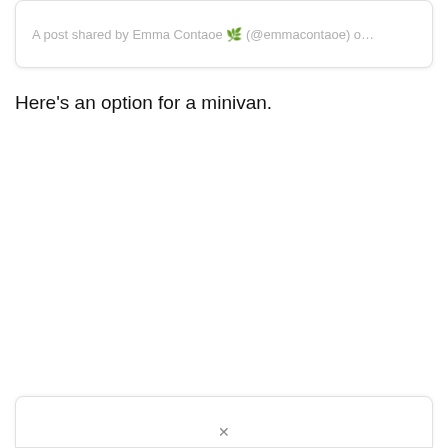A post shared by Emma Contaoe 🌿 (@emmacontaoe) o…
Here's an option for a minivan.